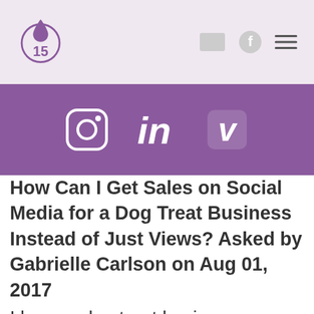15 logo with social media navigation icons
[Figure (illustration): Purple banner with Instagram, LinkedIn, and Vimeo social media icons in white]
How Can I Get Sales on Social Media for a Dog Treat Business Instead of Just Views? Asked by Gabrielle Carlson on Aug 01, 2017
I have a dog treat business Barkingtonbistro.com and do Shopify. As long as I post to social media I am getting views. But no sales have come out of those views. No one is buying. I have a few local customers but want to expand to as many sales as I can get. What am I missing or maybe doing